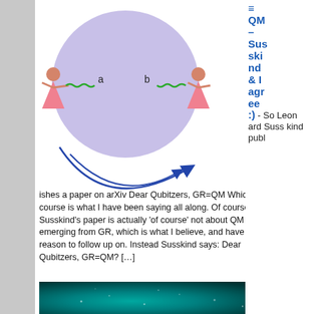[Figure (illustration): Diagram showing a large purple circle (representing a black hole or quantum system) with two figures (pink/salmon colored human silhouettes) on each side. The left figure labeled 'a' holds a wavy green line entering the circle from the left. The right figure labeled 'b' holds a wavy green line entering from the right. Two curved blue arrows arc below the circle going from left to right.]
QM – Susskind & I agree :) - So Leonard Susskind publishes a paper on arXiv Dear Qubitzers, GR=QM Which of course is what I have been saying all along. Of course Susskind's paper is actually 'of course' not about QM emerging from GR, which is what I believe, and have good reason to follow up on. Instead Susskind says: Dear Qubitzers, GR=QM? […]
[Figure (photo): An underwater or atmospheric photo with teal/turquoise tones, showing light particles or bubbles in a dark to teal gradient.]